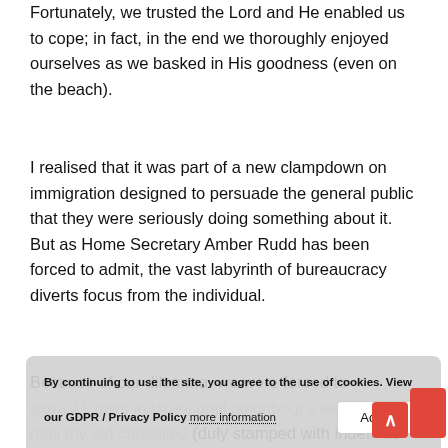Fortunately, we trusted the Lord and He enabled us to cope; in fact, in the end we thoroughly enjoyed ourselves as we basked in His goodness (even on the beach).
I realised that it was part of a new clampdown on immigration designed to persuade the general public that they were seriously doing something about it. But as Home Secretary Amber Rudd has been forced to admit, the vast labyrinth of bureaucracy diverts focus from the individual.
Because of our dilemma, we were forced to stay an extra 11 days in Israel until neighbours were able to mail my old cancelled... (duly stamped with indefinite leave to stay here) to Beit Immanuel, the CMJ (Church's Ministry...
By continuing to use the site, you agree to the use of cookies. View our GDPR / Privacy Policy more information